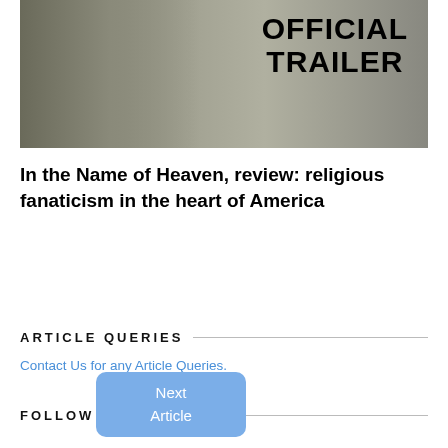[Figure (photo): Movie trailer thumbnail showing a man in a suit with 'OFFICIAL TRAILER' text overlay in large bold black letters]
In the Name of Heaven, review: religious fanaticism in the heart of America
ARTICLE QUERIES
Contact Us for any Article Queries.
FOLLOW US